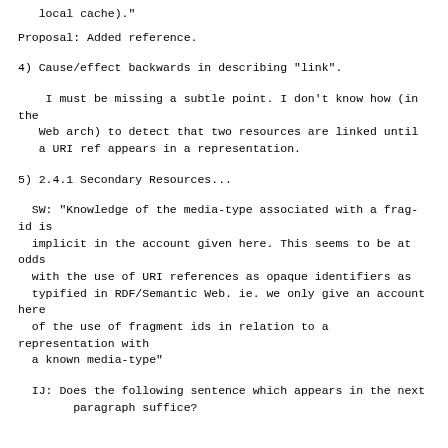local cache)."
Proposal: Added reference.
4) Cause/effect backwards in describing "link".
I must be missing a subtle point. I don't know how (in the
   Web arch) to detect that two resources are linked until
   a URI ref appears in a representation.
5) 2.4.1 Secondary Resources...
SW: "Knowledge of the media-type associated with a frag-id is
  implicit in the account given here. This seems to be at odds
  with the use of URI references as opaque identifiers as
  typified in RDF/Semantic Web. ie. we only give an account here
  of the use of fragment ids in relation to a representation with
  a known media-type"
IJ: Does the following sentence which appears in the next
        paragraph suffice?